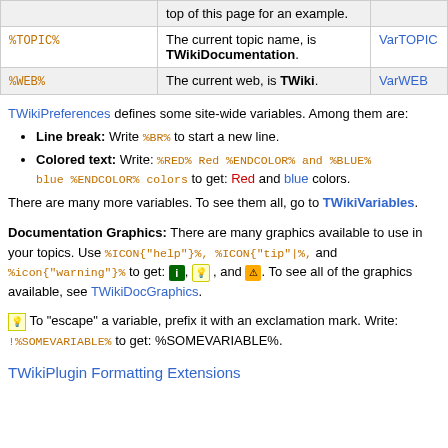| Variable | Description | Link |
| --- | --- | --- |
|  | top of this page for an example. |  |
| %TOPIC% | The current topic name, is TWikiDocumentation. | VarTOPIC |
| %WEB% | The current web, is TWiki. | VarWEB |
TWikiPreferences defines some site-wide variables. Among them are:
Line break: Write %BR% to start a new line.
Colored text: Write: %RED% Red %ENDCOLOR% and %BLUE% blue %ENDCOLOR% colors to get: Red and blue colors.
There are many more variables. To see them all, go to TWikiVariables.
Documentation Graphics: There are many graphics available to use in your topics. Use %ICON{"help"}%, %ICON{"tip"|%, and %icon{"warning"}% to get: [help], [tip], and [warning]. To see all of the graphics available, see TWikiDocGraphics.
To "escape" a variable, prefix it with an exclamation mark. Write: !%SOMEVARIABLE% to get: %SOMEVARIABLE%.
TWikiPlugin Formatting Extensions